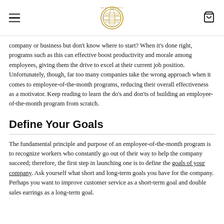ASAP AWARDS [logo]
company or business but don't know where to start? When it's done right, programs such as this can effective boost productivity and morale among employees, giving them the drive to excel at their current job position. Unfortunately, though, far too many companies take the wrong approach when it comes to employee-of-the-month programs, reducing their overall effectiveness as a motivator. Keep reading to learn the do's and don'ts of building an employee-of-the-month program from scratch.
Define Your Goals
The fundamental principle and purpose of an employee-of-the-month program is to recognize workers who constantly go out of their way to help the company succeed; therefore, the first step in launching one is to define the goals of your company. Ask yourself what short and long-term goals you have for the company. Perhaps you want to improve customer service as a short-term goal and double sales earrings as a long-term goal.